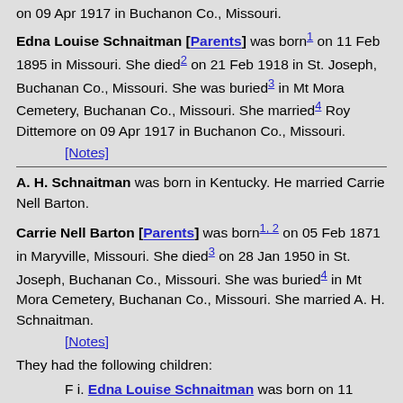on 09 Apr 1917 in Buchanon Co., Missouri.
Edna Louise Schnaitman [Parents] was born¹ on 11 Feb 1895 in Missouri. She died² on 21 Feb 1918 in St. Joseph, Buchanan Co., Missouri. She was buried³ in Mt Mora Cemetery, Buchanan Co., Missouri. She married⁴ Roy Dittemore on 09 Apr 1917 in Buchanon Co., Missouri.
[Notes]
A. H. Schnaitman was born in Kentucky. He married Carrie Nell Barton.
Carrie Nell Barton [Parents] was born¹ʾ² on 05 Feb 1871 in Maryville, Missouri. She died³ on 28 Jan 1950 in St. Joseph, Buchanan Co., Missouri. She was buried⁴ in Mt Mora Cemetery, Buchanan Co., Missouri. She married A. H. Schnaitman.
[Notes]
They had the following children:
F i. Edna Louise Schnaitman was born on 11